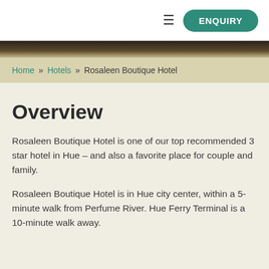≡ ENQUIRY
Home » Hotels » Rosaleen Boutique Hotel
Overview
Rosaleen Boutique Hotel is one of our top recommended 3 star hotel in Hue – and also a favorite place for couple and family.
Rosaleen Boutique Hotel is in Hue city center, within a 5-minute walk from Perfume River. Hue Ferry Terminal is a 10-minute walk away.